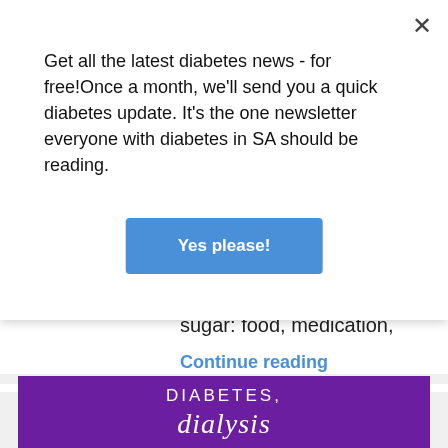Get all the latest diabetes news - for free!Once a month, we'll send you a quick diabetes update. It's the one newsletter everyone with diabetes in SA should be reading.
Yes please!
sugar: food, medication, exercise, hormones, the weather...
Continue reading
DIABETES, dialysis